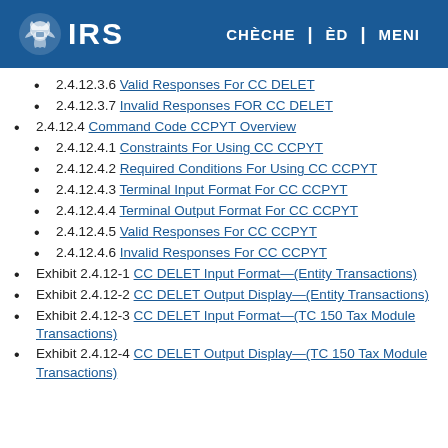IRS | CHÈCHE | ÈD | MENI
2.4.12.3.6 Valid Responses For CC DELET
2.4.12.3.7 Invalid Responses FOR CC DELET
2.4.12.4 Command Code CCPYT Overview
2.4.12.4.1 Constraints For Using CC CCPYT
2.4.12.4.2 Required Conditions For Using CC CCPYT
2.4.12.4.3 Terminal Input Format For CC CCPYT
2.4.12.4.4 Terminal Output Format For CC CCPYT
2.4.12.4.5 Valid Responses For CC CCPYT
2.4.12.4.6 Invalid Responses For CC CCPYT
Exhibit 2.4.12-1 CC DELET Input Format—(Entity Transactions)
Exhibit 2.4.12-2 CC DELET Output Display—(Entity Transactions)
Exhibit 2.4.12-3 CC DELET Input Format—(TC 150 Tax Module Transactions)
Exhibit 2.4.12-4 CC DELET Output Display—(TC 150 Tax Module Transactions)